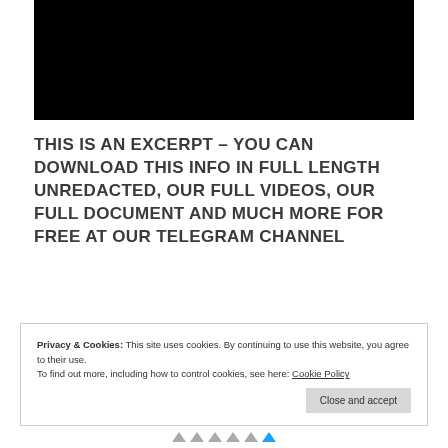[Figure (other): Black rectangle representing a redacted or blacked-out video/image area]
THIS IS AN EXCERPT – YOU CAN DOWNLOAD THIS INFO IN FULL LENGTH UNREDACTED, OUR FULL VIDEOS, OUR FULL DOCUMENT AND MUCH MORE FOR FREE AT OUR TELEGRAM CHANNEL
Privacy & Cookies: This site uses cookies. By continuing to use this website, you agree to their use. To find out more, including how to control cookies, see here: Cookie Policy
Close and accept